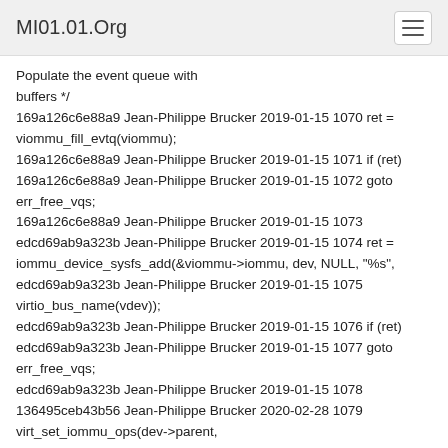MI01.01.Org
Populate the event queue with
buffers */
169a126c6e88a9 Jean-Philippe Brucker 2019-01-15 1070 ret =
viommu_fill_evtq(viommu);
169a126c6e88a9 Jean-Philippe Brucker 2019-01-15 1071 if (ret)
169a126c6e88a9 Jean-Philippe Brucker 2019-01-15 1072 goto
err_free_vqs;
169a126c6e88a9 Jean-Philippe Brucker 2019-01-15 1073
edcd69ab9a323b Jean-Philippe Brucker 2019-01-15 1074 ret =
iommu_device_sysfs_add(&viommu->iommu, dev, NULL, "%s",
edcd69ab9a323b Jean-Philippe Brucker 2019-01-15 1075
virtio_bus_name(vdev));
edcd69ab9a323b Jean-Philippe Brucker 2019-01-15 1076 if (ret)
edcd69ab9a323b Jean-Philippe Brucker 2019-01-15 1077 goto
err_free_vqs;
edcd69ab9a323b Jean-Philippe Brucker 2019-01-15 1078
136495ceb43b56 Jean-Philippe Brucker 2020-02-28 1079
virt_set_iommu_ops(dev->parent,
&viommu_ops);